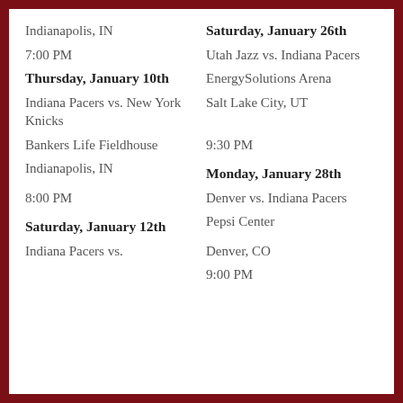Indianapolis, IN
Saturday, January 26th
7:00 PM
Utah Jazz vs. Indiana Pacers
Thursday, January 10th
EnergySolutions Arena
Indiana Pacers vs. New York Knicks
Salt Lake City, UT
Bankers Life Fieldhouse
9:30 PM
Indianapolis, IN
Monday, January 28th
8:00 PM
Denver vs. Indiana Pacers
Saturday, January 12th
Pepsi Center
Indiana Pacers vs.
Denver, CO
9:00 PM